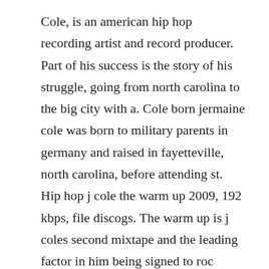Cole, is an american hip hop recording artist and record producer. Part of his success is the story of his struggle, going from north carolina to the big city with a. Cole born jermaine cole was born to military parents in germany and raised in fayetteville, north carolina, before attending st. Hip hop j cole the warm up 2009, 192 kbps, file discogs. The warm up is j coles second mixtape and the leading factor in him being signed to roc nation, which significantly is home to lights please, the song that convinced jayz to sign